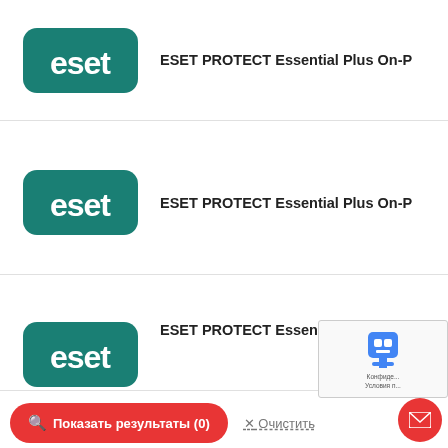[Figure (logo): ESET logo - teal rounded rectangle with 'eset' text, partial top row]
ESET PROTECT Essential Plus On-P...
[Figure (logo): ESET logo - teal rounded rectangle with 'eset' text, second row]
ESET PROTECT Essential Plus On-P...
[Figure (logo): ESET logo - teal rounded rectangle with 'eset' text, third row]
ESET PROTECT Essential Plus On-P...
[Figure (logo): ESET logo - teal rounded rectangle with 'eset' text, fourth partial row]
ESET PROTECT Essentia...
Показать результаты (0)
X Очистить